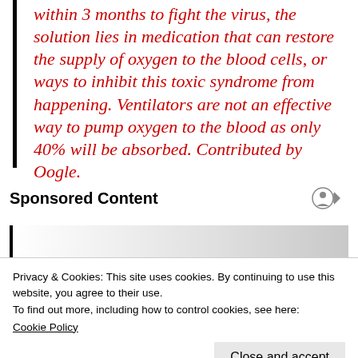within 3 months to fight the virus, the solution lies in medication that can restore the supply of oxygen to the blood cells, or ways to inhibit this toxic syndrome from happening. Ventilators are not an effective way to pump oxygen to the blood as only 40% will be absorbed. Contributed by Oogle.
Sponsored Content
[Figure (other): Sponsored content card with gradient background, partially visible]
Privacy & Cookies: This site uses cookies. By continuing to use this website, you agree to their use.
To find out more, including how to control cookies, see here:
Cookie Policy
Close and accept